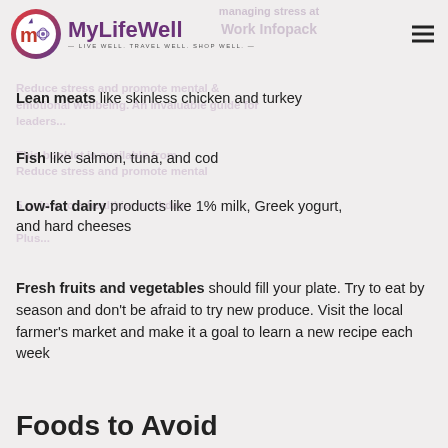MyLifeWell — LIVE WELL. TRAVEL WELL. SHOP WELL.
Lean meats like skinless chicken and turkey
Fish like salmon, tuna, and cod
Low-fat dairy products like 1% milk, Greek yogurt, and hard cheeses
Fresh fruits and vegetables should fill your plate. Try to eat by season and don't be afraid to try new produce. Visit the local farmer's market and make it a goal to learn a new recipe each week
Foods to Avoid